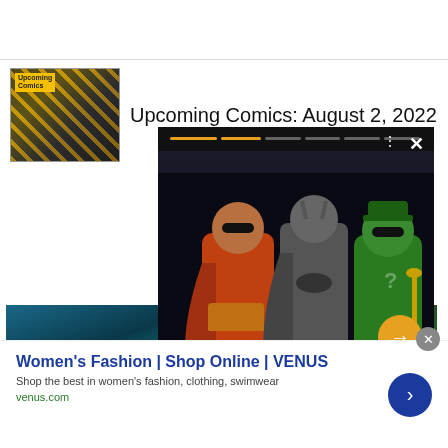[Figure (screenshot): Thumbnail image for upcoming comics featuring comic book cover art with superhero in dark tones and yellow text]
Upcoming Comics: August 2, 2022
[Figure (screenshot): Popup overlay showing Iron Studios Batman Forever MiniCos figurines - Robin, Batman, and Riddler statues on dark background. Progress bar at top, X close button, navigation arrow, and white title bar at bottom reading: Iron Studios announces new Batman Forever MiniCos]
ALSO ON BATMAN
[Figure (screenshot): Thumbnail images at bottom of page showing Aquaman and other comic/tech related imagery]
Women's Fashion | Shop Online | VENUS
Shop the best in women's fashion, clothing, swimwear
venus.com